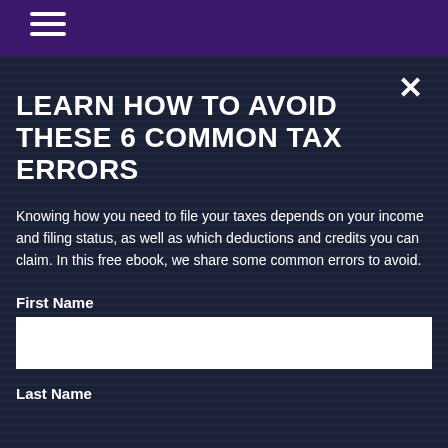LEARN HOW TO AVOID THESE 6 COMMON TAX ERRORS
Knowing how you need to file your taxes depends on your income and filing status, as well as which deductions and credits you can claim. In this free ebook, we share some common errors to avoid.
First Name
Last Name